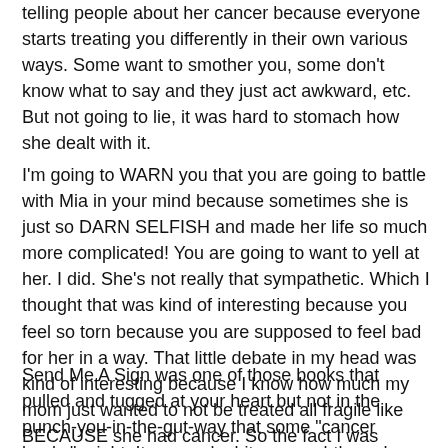telling people about her cancer because everyone starts treating you differently in their own various ways. Some want to smother you, some don't know what to say and they just act awkward, etc. But not going to lie, it was hard to stomach how she dealt with it.
I'm going to WARN you that you are going to battle with Mia in your mind because sometimes she is just so DARN SELFISH and made her life so much more complicated! You are going to want to yell at her. I did. She's not really that sympathetic. Which I thought that was kind of interesting because you feel so torn because you are supposed to feel bad for her in a way. That little debate in my head was kind of interesting because I know how much my mom just wanted to not be treated all fragile like BECAUSE she had cancer. So the fact I was making excuses for her just made me have a very interesting dialogue in my head.
Send Me A Sign was one of those books that pulled and tugged at your heart but not in the punch-you-in-the-gut-way that some "cancer books" might. It seemed a bit more subtle perhaps because of the way Mia was dealing it and how she